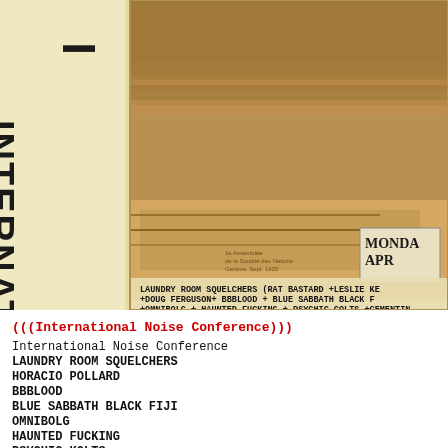[Figure (photo): Sepia-toned vintage photograph of a large assembly hall or conference venue filled with people, with the word INTERNATI (cropped) visible vertically on the left side in large bold letters. Text at the bottom reads: LAUNDRY ROOM SQUELCHERS (RAT BASTARD + LESLIE KE + DOUG FERGUSON + BBBLOOD + BLUE SABBATH BLACK F + OMNIBOLG + HAUNTED FUCKING + PSYCHIC COLTS + CEMENTIN. A sign reading MONDA APR is visible on the right.]
(((International Noise Conference)))
International Noise Conference
LAUNDRY ROOM SQUELCHERS
HORACIO POLLARD
BBBLOOD
BLUE SABBATH BLACK FIJI
OMNIBOLG
HAUNTED FUCKING
PSYCHIC KOLTS
CEMENTIMENTAL